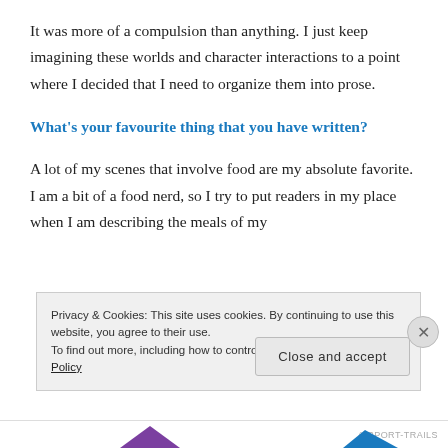It was more of a compulsion than anything. I just keep imagining these worlds and character interactions to a point where I decided that I need to organize them into prose.
What's your favourite thing that you have written?
A lot of my scenes that involve food are my absolute favorite. I am a bit of a food nerd, so I try to put readers in my place when I am describing the meals of my
Privacy & Cookies: This site uses cookies. By continuing to use this website, you agree to their use.
To find out more, including how to control cookies, see here: Cookie Policy